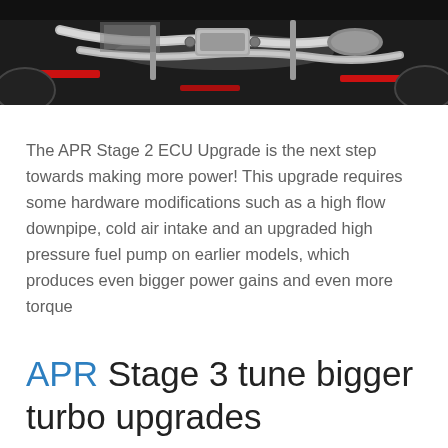[Figure (photo): Underside view of a car showing exhaust system, pipes and components, photographed from below on a lift, dark background with red lift arms visible]
The APR Stage 2 ECU Upgrade is the next step towards making more power! This upgrade requires some hardware modifications such as a high flow downpipe, cold air intake and an upgraded high pressure fuel pump on earlier models, which produces even bigger power gains and even more torque
APR Stage 3 tune bigger turbo upgrades